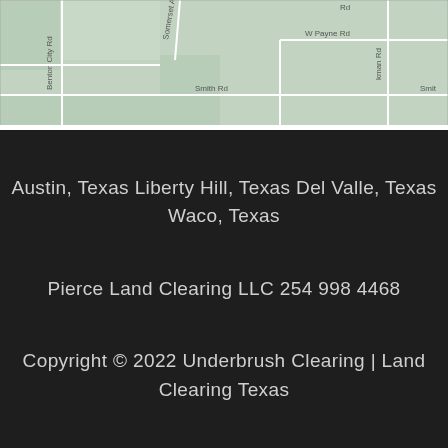[Figure (map): Street map showing roads including Benton City Rd, Somerset (partially visible), W Payne Rd, Smith Rd, Rd (partially visible), kman Rd, and Smith (partially visible), with light green land parcels on a light green background with white road lines.]
Austin, Texas Liberty Hill, Texas Del Valle, Texas Waco, Texas
Pierce Land Clearing LLC 254 998 4468
Copyright © 2022 Underbrush Clearing | Land Clearing Texas